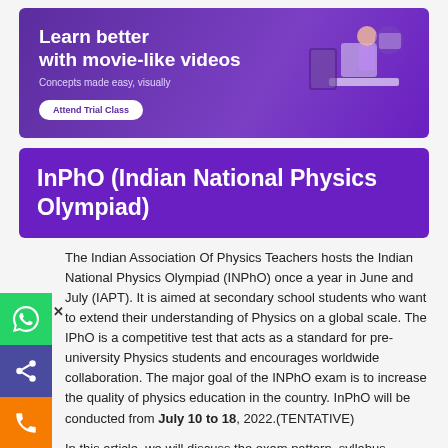[Figure (illustration): Purple advertisement banner with text 'Learn better with movie-like videos', subtext 'Concepts made easy, visually', a button 'Attend Trial Class', and an illustration of a student at a desk on the right side.]
InPhO (Indian National Physics Olympiad)
The Indian Association Of Physics Teachers hosts the Indian National Physics Olympiad (INPhO) once a year in June and July (IAPT). It is aimed at secondary school students who want to extend their understanding of Physics on a global scale. The IPhO is a competitive test that acts as a standard for pre-university Physics students and encourages worldwide collaboration. The major goal of the INPhO exam is to increase the quality of physics education in the country. InPhO will be conducted from July 10 to 18, 2022.(TENTATIVE)
In this article, we will discuss the exam pattern, syllabus, registration, result and much more about INPhO 2022